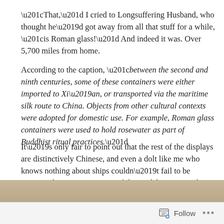“That,” I cried to Longsuffering Husband, who thought he’d got away from all that stuff for a while, “is Roman glass!” And indeed it was. Over 5,700 miles from home.
According to the caption, “between the second and ninth centuries, some of these containers were either imported to Xi’an, or transported via the maritime silk route to China. Objects from other cultural contexts were adopted for domestic use. For example, Roman glass containers were used to hold rosewater as part of Buddhist ritual practices.”
It’s only fair to point out that the rest of the displays are distinctively Chinese, and even a dolt like me who knows nothing about ships couldn’t fail to be impressed. Here’s one of the models I managed to get in focus:
[Figure (photo): Partial view of a photo strip showing what appears to be a museum model or artifact, beige/tan in color, partially cropped at bottom of page]